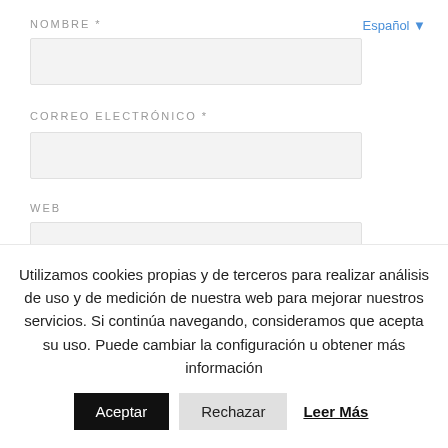Español ▼
NOMBRE *
CORREO ELECTRÓNICO *
WEB
Utilizamos cookies propias y de terceros para realizar análisis de uso y de medición de nuestra web para mejorar nuestros servicios. Si continúa navegando, consideramos que acepta su uso. Puede cambiar la configuración u obtener más información
Aceptar
Rechazar
Leer Más